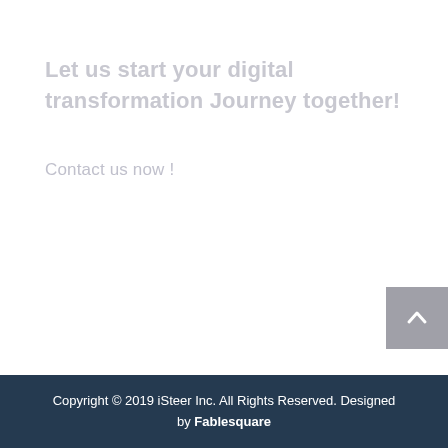Let us start your digital transformation Journey together!
Contact us now !
Copyright © 2019 iSteer Inc. All Rights Reserved. Designed by Fablesquare